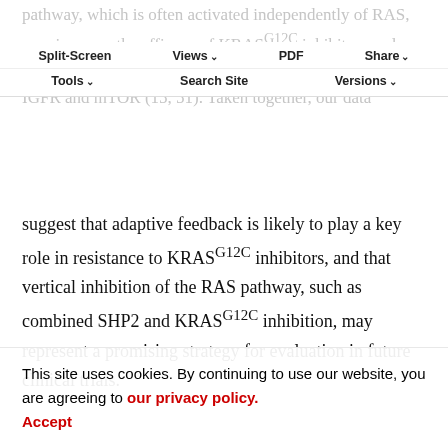pathway, which is often activated independently of RAS, may improve the efficacy of KRASG12C inhibitors and a study by Molina-Arcas and colleagues suggested targeting IGFR and mTOR (15, 51). Taken together, our data
suggest that adaptive feedback is likely to play a key role in resistance to KRASG12C inhibitors, and that vertical inhibition of the RAS pathway, such as combined SHP2 and KRASG12C inhibition, may represent a promising strategy for evaluation in future clinical trials.
Disclosure of Potential Conflicts of Interest
R.B. Corcoran is a paid consultant for Amgen, Array Biopharma, Astex Pharmaceuticals, Avidity Biosciences, Bristol Myers Squibb, C4 Therapeutics, Chugai, Elicio, FOG Pharma, Fount Therapeutics/Kinnate Biopharma,
This site uses cookies. By continuing to use our website, you are agreeing to our privacy policy. Accept